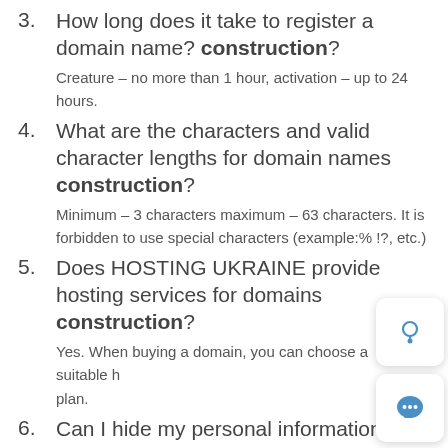3. How long does it take to register a domain name? construction?
Creature – no more than 1 hour, activation – up to 24 hours.
4. What are the characters and valid character lengths for domain names construction?
Minimum – 3 characters maximum – 63 characters. It is forbidden to use special characters (example:% !?, etc.)
5. Does HOSTING UKRAINE provide hosting services for domains construction?
Yes. When buying a domain, you can choose a suitable h plan.
6. Can I hide my personal information in WHOIS?
Registry contact information is private by default. It is p to hide / open / change contact information, at your request.
7. Is there a grace period for domain renewal? construction?